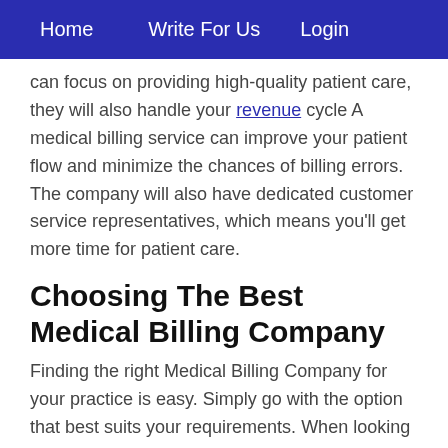Home   Write For Us   Login
can focus on providing high-quality patient care, they will also handle your revenue cycle A medical billing service can improve your patient flow and minimize the chances of billing errors. The company will also have dedicated customer service representatives, which means you'll get more time for patient care.
Choosing The Best Medical Billing Company
Finding the right Medical Billing Company for your practice is easy. Simply go with the option that best suits your requirements. When looking for a medical billing service, there are several factors to consider. A good one should offer excellent service to their customers. A good Medical Billing Company will have a large number of satisfied clients. A Medical